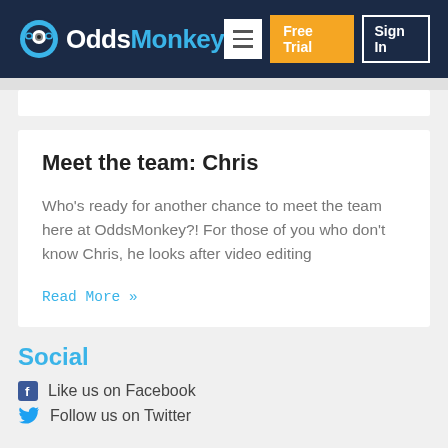OddsMonkey | Free Trial | Sign In
Meet the team: Chris
Who's ready for another chance to meet the team here at OddsMonkey?! For those of you who don't know Chris, he looks after video editing
Read More »
Social
Like us on Facebook
Follow us on Twitter